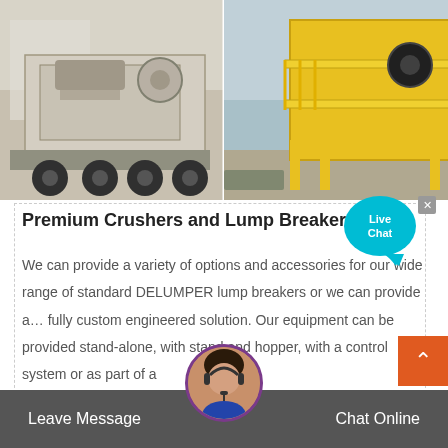[Figure (photo): Two industrial machines side by side: left shows a mobile jaw crusher mounted on a truck/trailer; right shows a yellow industrial screening or crushing plant structure.]
Premium Crushers and Lump Breakers |Fra...
We can provide a variety of options and accessories for our wide range of standard DELUMPER lump breakers or we can provide a... fully custom engineered solution. Our equipment can be provided stand-alone, with stand and hopper, with a control system or as part of a
Leave Message   Chat Online